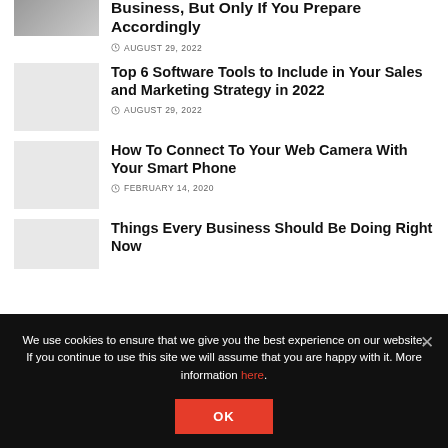[Figure (photo): Small thumbnail image partially visible at top]
Business, But Only if You Prepare Accordingly
AUGUST 29, 2022
[Figure (photo): Light gray placeholder thumbnail for second article]
Top 6 Software Tools to Include in Your Sales and Marketing Strategy in 2022
AUGUST 29, 2022
[Figure (photo): Light gray placeholder thumbnail for third article]
How To Connect To Your Web Camera With Your Smart Phone
FEBRUARY 14, 2020
[Figure (photo): Light gray placeholder thumbnail for fourth article]
Things Every Business Should Be Doing Right Now
We use cookies to ensure that we give you the best experience on our website. If you continue to use this site we will assume that you are happy with it. More information here.